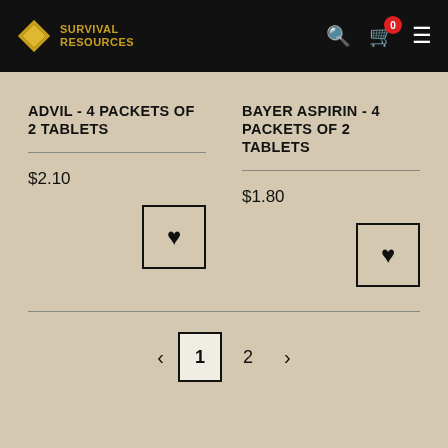Survival Resources — header with logo, search, cart (0), menu
ADVIL - 4 PACKETS OF 2 TABLETS
$2.10
BAYER ASPIRIN - 4 PACKETS OF 2 TABLETS
$1.80